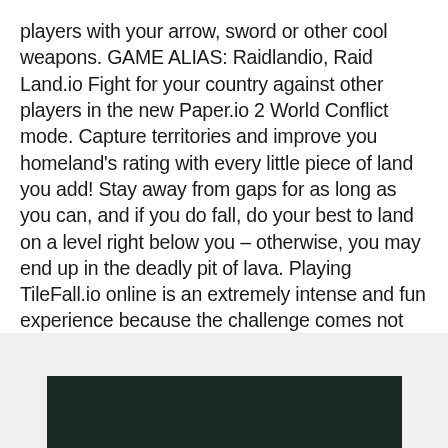players with your arrow, sword or other cool weapons. GAME ALIAS: Raidlandio, Raid Land.io Fight for your country against other players in the new Paper.io 2 World Conflict mode. Capture territories and improve you homeland's rating with every little piece of land you add! Stay away from gaps for as long as you can, and if you do fall, do your best to land on a level right below you – otherwise, you may end up in the deadly pit of lava. Playing TileFall.io online is an extremely intense and fun experience because the challenge comes not only from the game itself but from the unpredictable actions of other players.
[Figure (photo): A partial image showing a dark background with green/teal tones, appearing to be a screenshot or thumbnail of a game.]